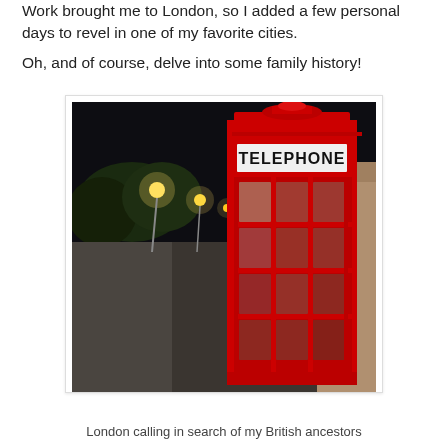Work brought me to London, so I added a few personal days to revel in one of my favorite cities.
Oh, and of course, delve into some family history!
[Figure (photo): A red British telephone box on a London street at night, with street lights illuminating a wet pavement and traffic in the background.]
London calling in search of my British ancestors